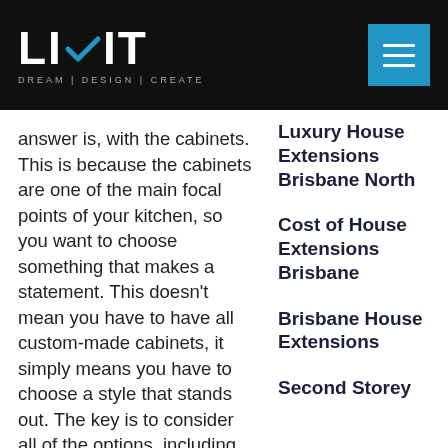[Figure (logo): LIVIT logo with checkmark, white text on black background, tagline DREAM | DESIGN | CREATE]
answer is, with the cabinets. This is because the cabinets are one of the main focal points of your kitchen, so you want to choose something that makes a statement. This doesn't mean you have to have all custom-made cabinets, it simply means you have to choose a style that stands out. The key is to consider all of the options, including those that are budget-friendly. Another great way to make your cabinets stand out without breaking the budget is to paint the existing
Luxury House Extensions Brisbane North
Cost of House Extensions Brisbane
Brisbane House Extensions
Second Storey